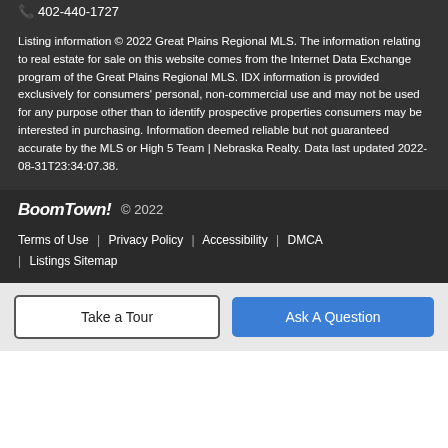402-440-1727
Listing information © 2022 Great Plains Regional MLS. The information relating to real estate for sale on this website comes from the Internet Data Exchange program of the Great Plains Regional MLS. IDX information is provided exclusively for consumers' personal, non-commercial use and may not be used for any purpose other than to identify prospective properties consumers may be interested in purchasing. Information deemed reliable but not guaranteed accurate by the MLS or High 5 Team | Nebraska Realty. Data last updated 2022-08-31T23:34:07.38.
BoomTown! © 2022
Terms of Use | Privacy Policy | Accessibility | DMCA | Listings Sitemap
Take a Tour
Ask A Question